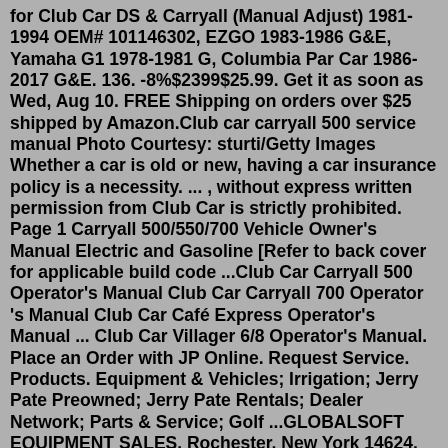for Club Car DS & Carryall (Manual Adjust) 1981-1994 OEM# 101146302, EZGO 1983-1986 G&E, Yamaha G1 1978-1981 G, Columbia Par Car 1986-2017 G&E. 136. -8%$2399$25.99. Get it as soon as Wed, Aug 10. FREE Shipping on orders over $25 shipped by Amazon.Club car carryall 500 service manual Photo Courtesy: sturti/Getty Images Whether a car is old or new, having a car insurance policy is a necessity. ... , without express written permission from Club Car is strictly prohibited. Page 1 Carryall 500/550/700 Vehicle Owner's Manual Electric and Gasoline [Refer to back cover for applicable build code ...Club Car Carryall 500 Operator's Manual Club Car Carryall 700 Operator 's Manual Club Car Café Express Operator's Manual ... Club Car Villager 6/8 Operator's Manual. Place an Order with JP Online. Request Service. Products. Equipment & Vehicles; Irrigation; Jerry Pate Preowned; Jerry Pate Rentals; Dealer Network; Parts & Service; Golf ...GLOBALSOFT EQUIPMENT SALES. Rochester, New York 14624. Phone: (585) 763-7060. visit our